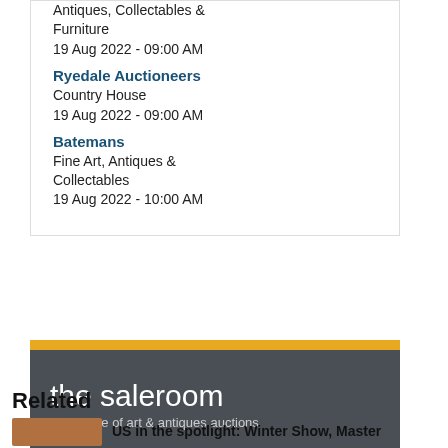Antiques, Collectables & Furniture
19 Aug 2022 - 09:00 AM
Ryedale Auctioneers
Country House
19 Aug 2022 - 09:00 AM
Batemans
Fine Art, Antiques & Collectables
19 Aug 2022 - 10:00 AM
[Figure (logo): The saleroom logo banner - dark grey background with gold top bar, white text reading 'the saleroom' and subtitle 'The home of art & antiques auctions']
Related
US in the spotlight: Winter Show, Master